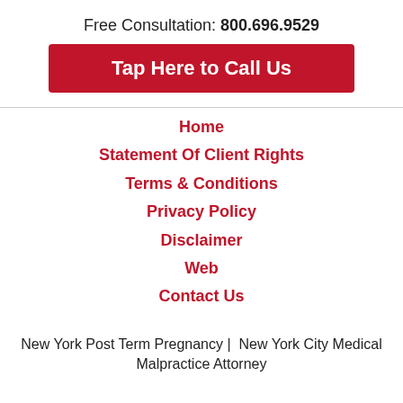Free Consultation: 800.696.9529
Tap Here to Call Us
Home
Statement Of Client Rights
Terms & Conditions
Privacy Policy
Disclaimer
Web
Contact Us
New York Post Term Pregnancy | New York City Medical Malpractice Attorney